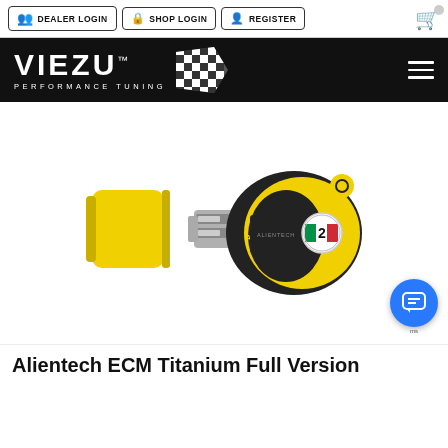DEALER LOGIN | SHOP LOGIN | REGISTER
[Figure (logo): Viezu Performance Tuning logo on black background with checkered flag graphic and hamburger menu icon]
[Figure (photo): Alientech ECM Titanium USB dongle device with yellow cap removed, showing silver USB connector, black and yellow body with Alientech branding and Italian flag logo button]
Alientech ECM Titanium Full Version